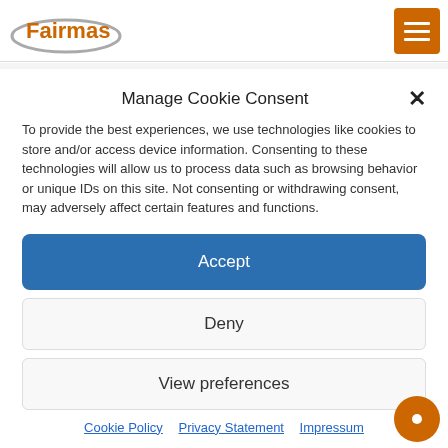Fairmas [logo] | hamburger menu
Manage Cookie Consent
To provide the best experiences, we use technologies like cookies to store and/or access device information. Consenting to these technologies will allow us to process data such as browsing behavior or unique IDs on this site. Not consenting or withdrawing consent, may adversely affect certain features and functions.
Accept
Deny
View preferences
Cookie Policy   Privacy Statement   Impressum